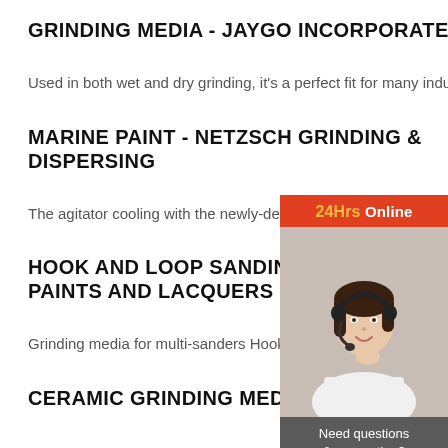GRINDING MEDIA - JAYGO INCORPORATED
Used in both wet and dry grinding, it's a perfect fit for many indus…
MARINE PAINT - NETZSCH GRINDING & DISPERSING
The agitator cooling with the newly-developed Ne…
HOOK AND LOOP SANDING SHEETS FOR PAINTS AND LACQUERS ...
Grinding media for multi-sanders Hook and loop s…
CERAMIC GRINDING MEDIA | CUM…
[Figure (photo): Customer service chat widget showing a woman with a headset, with '24Hrs Online' header in red/orange, 'Need questions & suggestion?' text, 'Chat Now' button, 'Enquiry' link, and 'limingjlmofen' link]